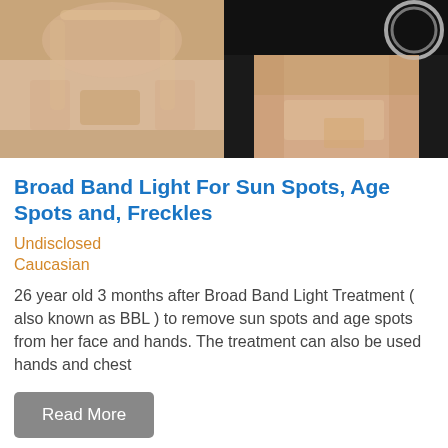[Figure (photo): Before and after side-by-side photos of a woman's lower face/chin area showing results of Broad Band Light treatment for sun spots and age spots]
Broad Band Light For Sun Spots, Age Spots and, Freckles
Undisclosed
Caucasian
26 year old 3 months after Broad Band Light Treatment ( also known as BBL ) to remove sun spots and age spots from her face and hands. The treatment can also be used hands and chest
Read More